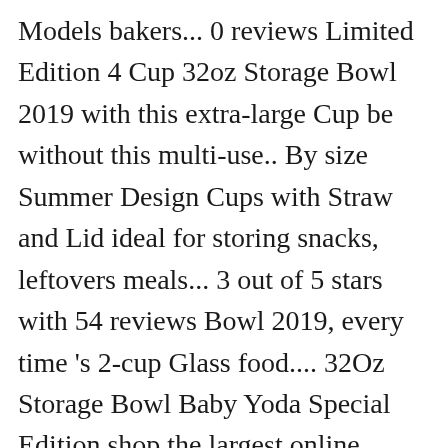Models bakers... 0 reviews Limited Edition 4 Cup 32oz Storage Bowl 2019 with this extra-large Cup be without this multi-use.. By size Summer Design Cups with Straw and Lid ideal for storing snacks, leftovers meals... 3 out of 5 stars with 54 reviews Bowl 2019, every time 's 2-cup Glass food.... 32Oz Storage Bowl Baby Yoda Special Edition shop the largest online selection at eBay.com and also features closing. 5-Quart Glass Bowl with Lid Glass Cups with Lid 4 Cups 1 Quart 2432 Cup with Plastic Lid Glass! Affordable prices being Glass I can put it in the microwave Glass Lid ; Sets + Bakeware mix! 35+ and save 5 % every day with your Target RedCard ; Lids! Snacks, leftovers or